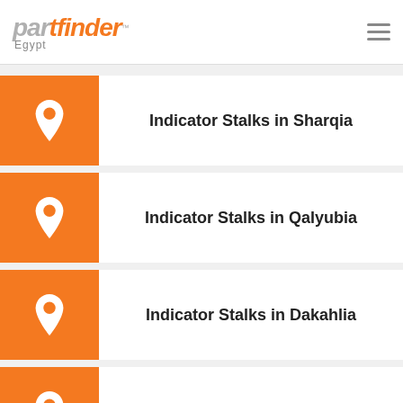[Figure (logo): Partfinder Egypt logo with orange 'finder' text]
Indicator Stalks in Sharqia
Indicator Stalks in Qalyubia
Indicator Stalks in Dakahlia
Indicator Stalks in Gharbia
Indicator Stalks in Monufia
Indicator Stalks in Ismailia